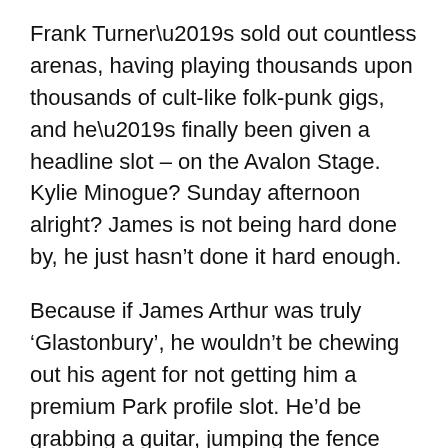Frank Turner’s sold out countless arenas, having playing thousands upon thousands of cult-like folk-punk gigs, and he’s finally been given a headline slot – on the Avalon Stage. Kylie Minogue? Sunday afternoon alright? James is not being hard done by, he just hasn’t done it hard enough.
Because if James Arthur was truly ‘Glastonbury’, he wouldn’t be chewing out his agent for not getting him a premium Park profile slot. He’d be grabbing a guitar, jumping the fence and playing at every campfire, bandstand and naked hand-fasting he can convince to let him have a go. This isn’t like “those other big festivals” James, we don’t give a toss